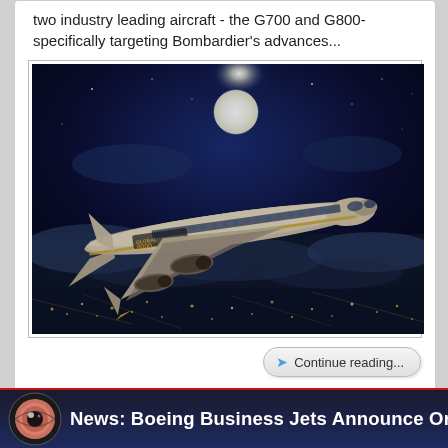two industry leading aircraft - the G700 and G800- specifically targeting Bombardier's advances...
[Figure (photo): Bombardier Global 8000 business jet flying at night above clouds with full moon in background]
Continue reading...
News: Boeing Business Jets Announce Orders For 4